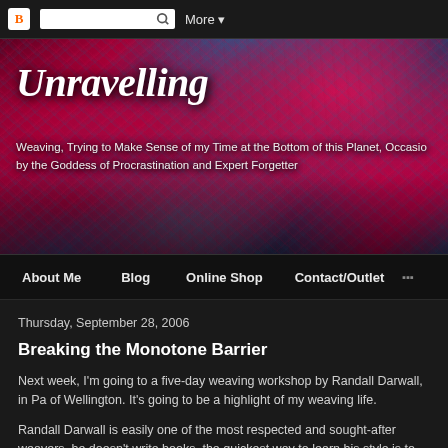Blogger navbar with icon, search box, and More button
[Figure (photo): Close-up photo of woven textile fabric in vivid crimson/magenta and teal/cyan colors with intricate weave pattern. Blog title 'Unravelling' overlaid in white italic script. Subtitle text overlaid below.]
Unravelling
Weaving, Trying to Make Sense of my Time at the Bottom of this Planet, Occasionally Distracted by the Goddess of Procrastination and Expert Forgetter
About Me   Blog   Online Shop   Contact/Outlet
Thursday, September 28, 2006
Breaking the Monotone Barrier
Next week, I'm going to a five-day weaving workshop by Randall Darwall, in Pa of Wellington. It's going to be a highlight of my weaving life.
Randall Darwall is easily one of the most respected and sought-after weavers he doesn't write books, the quickest way to learn his style is to attend his works